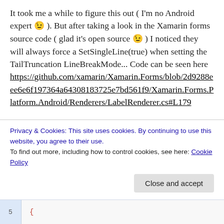It took me a while to figure this out ( I'm no Android expert 😉 ). But after taking a look in the Xamarin forms source code ( glad it's open source 😉 ) I noticed they will always force a SetSingleLine(true) when setting the TailTruncation LineBreakMode... Code can be seen here https://github.com/xamarin/Xamarin.Forms/blob/2d9288eee6e6f197364a64308183725e7bd561f9/Xamarin.Forms.Platform.Android/Renderers/LabelRenderer.cs#L179
So the fix is easy... you need to reset this Single Line forcing, the final code looks like this ( in your
Privacy & Cookies: This site uses cookies. By continuing to use this website, you agree to their use.
To find out more, including how to control cookies, see here: Cookie Policy
Close and accept
5    {